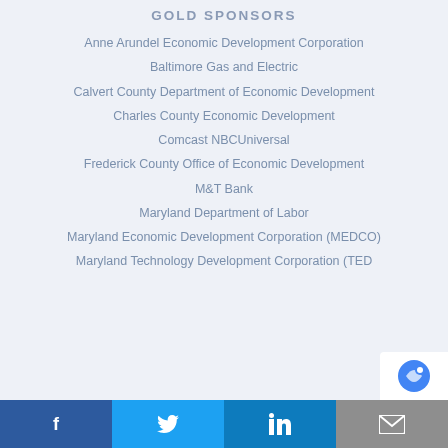GOLD SPONSORS
Anne Arundel Economic Development Corporation
Baltimore Gas and Electric
Calvert County Department of Economic Development
Charles County Economic Development
Comcast NBCUniversal
Frederick County Office of Economic Development
M&T Bank
Maryland Department of Labor
Maryland Economic Development Corporation (MEDCO)
Maryland Technology Development Corporation (TED…
f   Twitter   in   mail